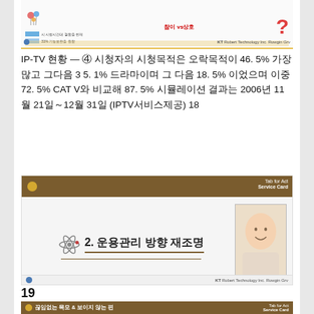[Figure (screenshot): Top portion of a presentation slide showing a chart with balloon icon, bar chart legends in blue, Korean text, red question mark, and KT Robert Technology logo at bottom]
IP-TV 현황 — ④ 시청자의 시청목적은 오락목적이 46. 5% 가장많고 그다음 35. 1% 드라마이며 그 다음 18. 5% 이었으며 이중 72. 5% CATV와 비교해 87. 5% 시뮬레이션 결과는 2006년 11월 21일～12월 31일 (IPTV서비스제공) 18
[Figure (screenshot): Presentation slide with brown header bar, KT Robert Technology logo, atom/molecule icon, Korean text '2. 운용관리 방향 재조명', horizontal rule, and photo of smiling man on right side]
19
[Figure (screenshot): Bottom presentation slide with brown header showing Korean text '끊임없는 목모 & 보이지 않는 편', KT Robert Technology logo, and two sub-panels with Korean captions about Seamless & E2E vs Slo and 목선에 보이지 않는 편]